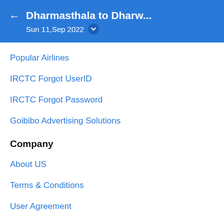Dharmasthala to Dharw… Sun 11,Sep 2022
Popular Airlines
IRCTC Forgot UserID
IRCTC Forgot Password
Goibibo Advertising Solutions
Company
About US
Terms & Conditions
User Agreement
Privacy
Customer Support
Careers
Corporate Social Responsibility